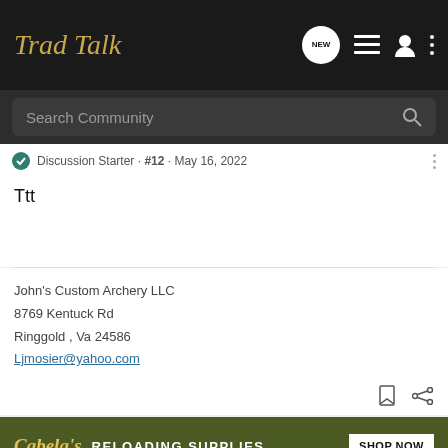Trad Talk
Discussion Starter · #12 · May 16, 2022
Ttt
John's Custom Archery LLC
8769 Kentuck Rd
Ringgold , Va 24586
Ljmosier@yahoo.com
[Figure (other): Cabela's Reloading Supplies advertisement banner with Shop Now button]